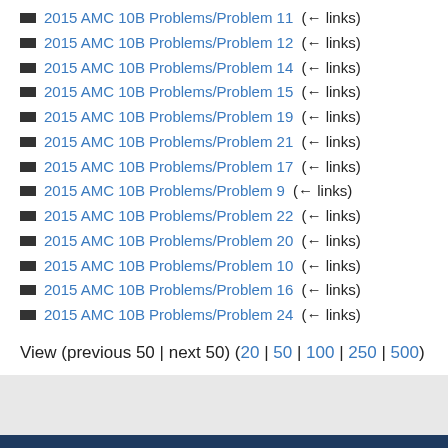2015 AMC 10B Problems/Problem 11  (← links)
2015 AMC 10B Problems/Problem 12  (← links)
2015 AMC 10B Problems/Problem 14  (← links)
2015 AMC 10B Problems/Problem 15  (← links)
2015 AMC 10B Problems/Problem 19  (← links)
2015 AMC 10B Problems/Problem 21  (← links)
2015 AMC 10B Problems/Problem 17  (← links)
2015 AMC 10B Problems/Problem 9  (← links)
2015 AMC 10B Problems/Problem 22  (← links)
2015 AMC 10B Problems/Problem 20  (← links)
2015 AMC 10B Problems/Problem 10  (← links)
2015 AMC 10B Problems/Problem 16  (← links)
2015 AMC 10B Problems/Problem 24  (← links)
View (previous 50 | next 50) (20 | 50 | 100 | 250 | 500)
[Figure (logo): AoPS Online logo with hexagonal icon and text 'AoPS Online']
Art of Problem Solving is an